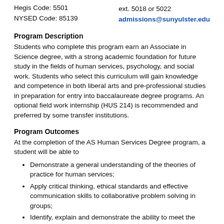Hegis Code: 5501
ext. 5018 or 5022
NYSED Code: 85139
admissions@sunyulster.edu
Program Description
Students who complete this program earn an Associate in Science degree, with a strong academic foundation for future study in the fields of human services, psychology, and social work. Students who select this curriculum will gain knowledge and competence in both liberal arts and pre-professional studies in preparation for entry into baccalaureate degree programs. An optional field work internship (HUS 214) is recommended and preferred by some transfer institutions.
Program Outcomes
At the completion of the AS Human Services Degree program, a student will be able to
Demonstrate a general understanding of the theories of practice for human services;
Apply critical thinking, ethical standards and effective communication skills to collaborative problem solving in groups;
Identify, explain and demonstrate the ability to meet the entry-level national Community Support Skills Standards;